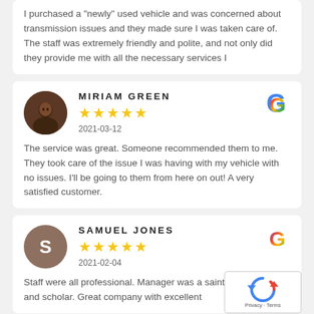I purchased a "newly" used vehicle and was concerned about transmission issues and they made sure I was taken care of. The staff was extremely friendly and polite, and not only did they provide me with all the necessary services I
MIRIAM GREEN
2021-03-12
The service was great. Someone recommended them to me. They took care of the issue I was having with my vehicle with no issues. I'll be going to them from here on out! A very satisfied customer.
SAMUEL JONES
2021-02-04
Staff were all professional. Manager was a saint, gentleman, and scholar. Great company with excellent